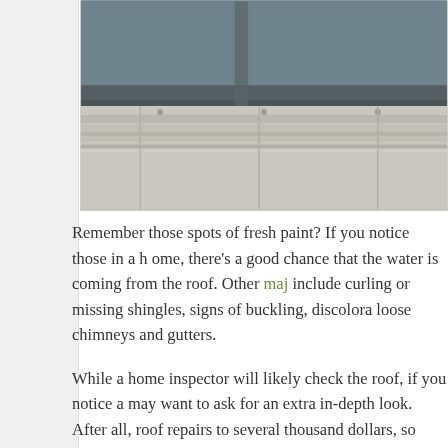[Figure (photo): Close-up photo of a roof edge showing gutters, flashing and roofing materials from below]
Remember those spots of fresh paint? If you notice those in a home, there's a good chance that the water is coming from the roof. Other major signs include curling or missing shingles, signs of buckling, discoloration, and loose chimneys and gutters.
While a home inspector will likely check the roof, if you notice any of these signs you may want to ask for an extra in-depth look. After all, roof repairs can run from a few hundred to several thousand dollars, so even though the roof is out of sight,
Need Some Help Searching?
Buying a home is a huge investment, and you want to make sure you spend your money wisely. If you're feeling overwhelmed by the walk through process, we're here to help. Not only can we point out any issues we see with the home, but we can also recommend top inspectors and help with negotiations for repai